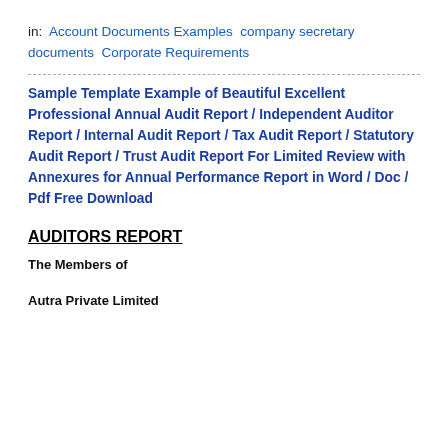in: Account Documents Examples  company secretary documents  Corporate Requirements
Sample Template Example of Beautiful Excellent Professional Annual Audit Report / Independent Auditor Report / Internal Audit Report / Tax Audit Report / Statutory Audit Report / Trust Audit Report For Limited Review with Annexures for Annual Performance Report in Word / Doc / Pdf Free Download
AUDITORS REPORT
The Members of
Autra Private Limited